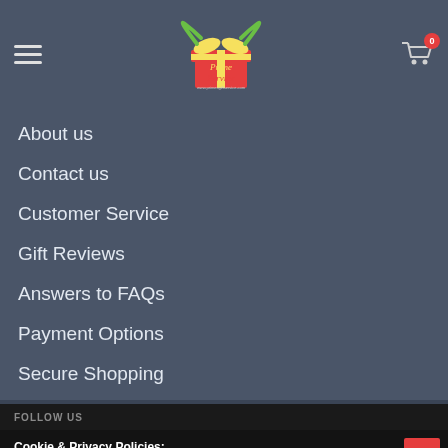Prime Service — navigation header with hamburger menu, logo, and cart icon
About us
Contact us
Customer Service
Gift Reviews
Answers to FAQs
Payment Options
Secure Shopping
FOLLOW US
Cookie & Privacy Policies:
By using this website you agree to cookie and privacy policies described in our Privacy Policy.